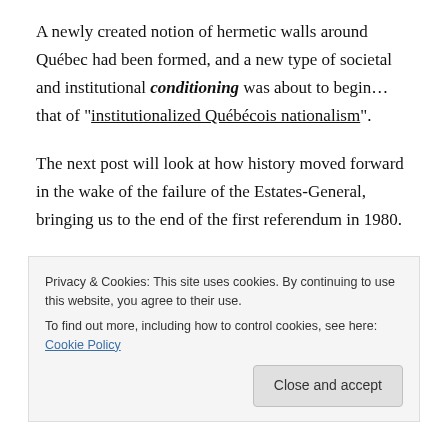A newly created notion of hermetic walls around Québec had been formed, and a new type of societal and institutional conditioning was about to begin… that of "institutionalized Québécois nationalism".
The next post will look at how history moved forward in the wake of the failure of the Estates-General, bringing us to the end of the first referendum in 1980.
SERIES:  HOW THE PRESENTATION OF EVENTS IN MODERN HISTORY WHICH HAVE CONDITIONED US
Privacy & Cookies: This site uses cookies. By continuing to use this website, you agree to their use.
To find out more, including how to control cookies, see here: Cookie Policy